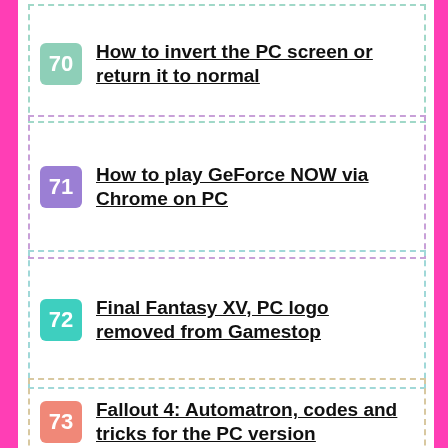70 How to invert the PC screen or return it to normal
71 How to play GeForce NOW via Chrome on PC
72 Final Fantasy XV, PC logo removed from Gamestop
73 Fallout 4: Automatron, codes and tricks for the PC version